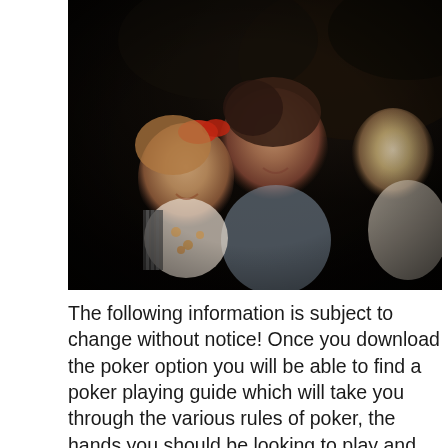[Figure (photo): An old photograph showing a young girl with a red bow in her hair wearing a white polka-dot top, a smiling woman behind her, and a third person partially visible on the right. Dark rocky background.]
The following information is subject to change without notice! Once you download the poker option you will be able to find a poker playing guide which will take you through the various rules of poker, the hands you should be looking to play and even a glossary so you understand